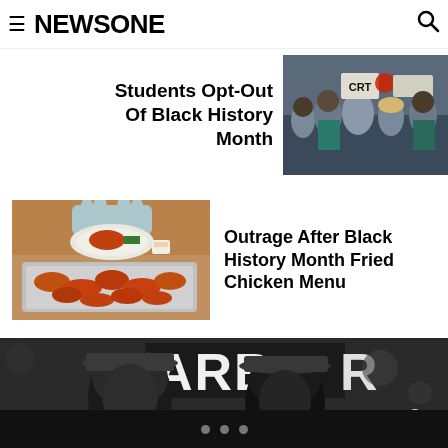NEWSONE
Students Opt-Out Of Black History Month
[Figure (photo): Crowd at a protest holding signs including one reading 'CRT']
[Figure (photo): Tray of fried chicken wings with someone serving food]
Outrage After Black History Month Fried Chicken Menu
[Figure (photo): Black and white photo of two men in hats in front of a barbershop sign]